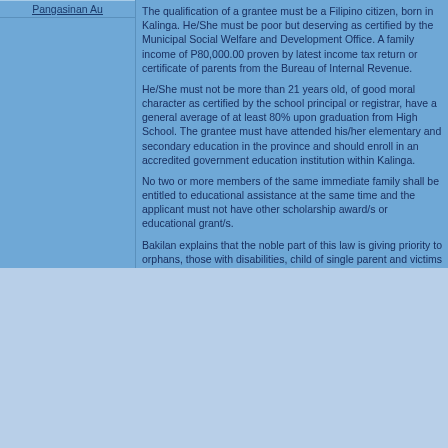Pangasinan Au
The qualification of a grantee must be a Filipino citizen, born in Kalinga. He/She must be poor but deserving as certified by the Municipal Social Welfare and Development Office. A family income of P80,000.00 proven by latest income tax return or certificate of parents from the Bureau of Internal Revenue.
He/She must not be more than 21 years old, of good moral character as certified by the school principal or registrar, have a general average of at least 80% upon graduation from High School. The grantee must have attended his/her elementary and secondary education in the province and should enroll in an accredited government education institution within Kalinga.
No two or more members of the same immediate family shall be entitled to educational assistance at the same time and the applicant must not have other scholarship award/s or educational grant/s.
Bakilan explains that the noble part of this law is giving priority to orphans, those with disabilities, child of single parent and victims of violence. Children of government and private employees, elective officials and their relatives are not covered. Applicants must have no pending administrative case.
Except for Tabuk City with 20 slots considering its big population, each municipality will get 10 each scholarship grant. (PIA-Kalinga) [top]
[Figure (logo): PIA logo - blue circle above a blue rectangle, resembling a person or letter i]
Philippine Official Gazette | Office of the President | Presidential... | For comments and feedback, please email... | Copyright © 2005 Philippine Informat... | PIA Building, Visayas Avenue, Diliman, Quezon...